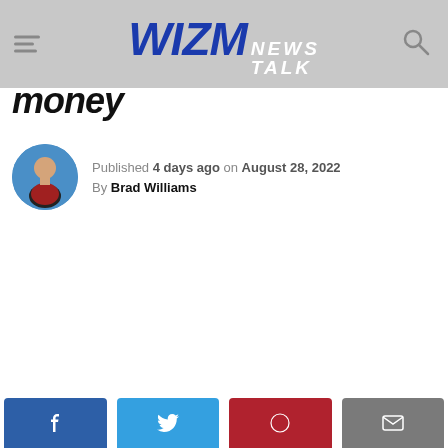WIZM NEWS TALK
money
Published 4 days ago on August 28, 2022
By Brad Williams